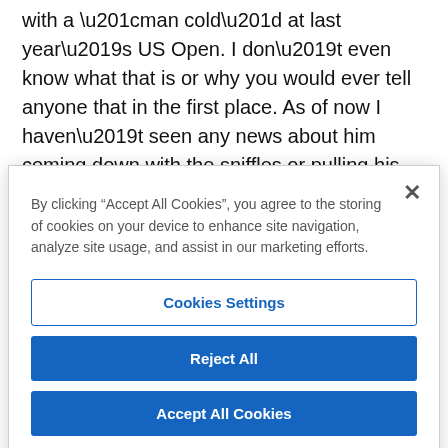with a “man cold” at last year’s US Open. I don’t even know what that is or why you would ever tell anyone that in the first place. As of now I haven’t seen any news about him coming down with the sniffles or pulling his back trying to kiss his kids so I’m going to (very nervously) assume that Day is an actual grown man this week. Day was on fire early
By clicking “Accept All Cookies”, you agree to the storing of cookies on your device to enhance site navigation, analyze site usage, and assist in our marketing efforts.
Cookies Settings
Reject All
Accept All Cookies